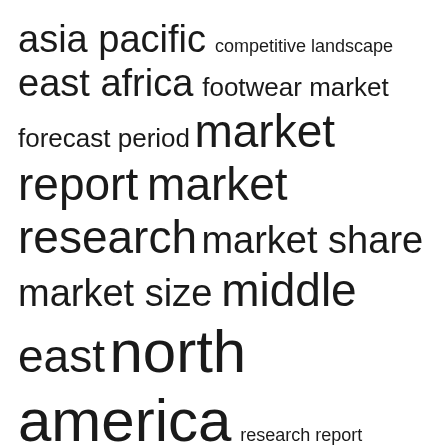asia pacific  competitive landscape  east africa  footwear market  forecast period  market report  market research  market share  market size  middle east  north america  research report  shoes market  south america  united states
RECENT POSTS
The steps you need to do to get an SBA 7(A) loan
Where to buy Adidas Forum 84 Low Cloud White shoes? Pricing and more details explored